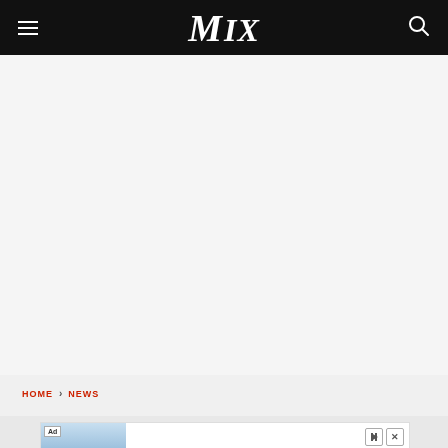MIX
HOME › NEWS
[Figure (screenshot): Advertisement banner for Firestone app download showing a store building image, 'Ad' label, text 'Download The Free App', brand name 'Firestone', and a 'Download' link button]